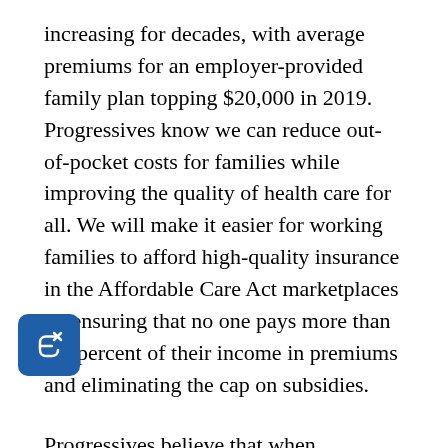increasing for decades, with average premiums for an employer-provided family plan topping $20,000 in 2019. Progressives know we can reduce out-of-pocket costs for families while improving the quality of health care for all. We will make it easier for working families to afford high-quality insurance in the Affordable Care Act marketplaces by ensuring that no one pays more than 8.5 percent of their income in premiums and eliminating the cap on subsidies.
Progressives believe that when Americans are in the hospital or an emergency room, they shouldn't have to worry about whether their health care providers are in-network or not, which is why we outlaw the predatory practice of surprise medical billing. We will work to increase price